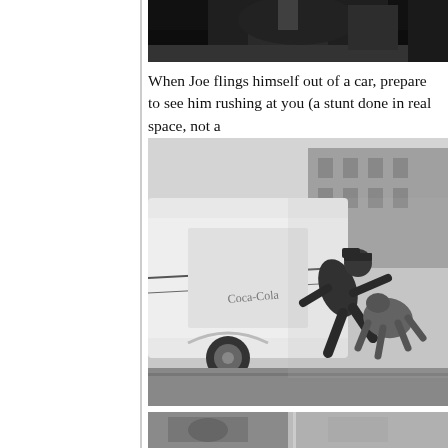[Figure (photo): Black and white film still showing a dark scene, partially visible at top of page, cropped]
When Joe flings himself out of a car, prepare to see him rushing at you (a stunt done in real space, not a
[Figure (photo): Black and white film still showing a person leaping or falling from a car door, dynamic action shot on a city street]
[Figure (photo): Black and white film still, partially visible at bottom of page, cropped]